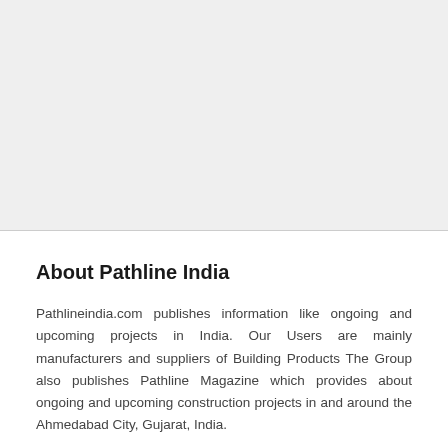[Figure (other): Large gray placeholder/image area at top of page]
About Pathline India
Pathlineindia.com publishes information like ongoing and upcoming projects in India. Our Users are mainly manufacturers and suppliers of Building Products The Group also publishes Pathline Magazine which provides about ongoing and upcoming construction projects in and around the Ahmedabad City, Gujarat, India.